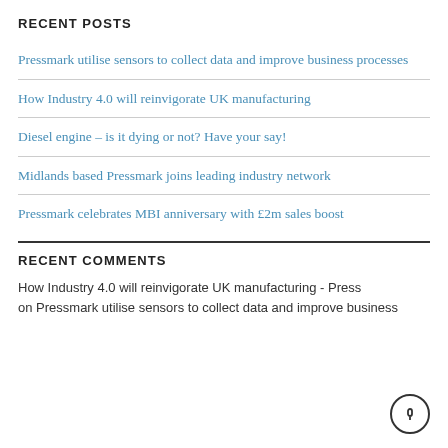RECENT POSTS
Pressmark utilise sensors to collect data and improve business processes
How Industry 4.0 will reinvigorate UK manufacturing
Diesel engine – is it dying or not? Have your say!
Midlands based Pressmark joins leading industry network
Pressmark celebrates MBI anniversary with £2m sales boost
RECENT COMMENTS
How Industry 4.0 will reinvigorate UK manufacturing - Press on Pressmark utilise sensors to collect data and improve business